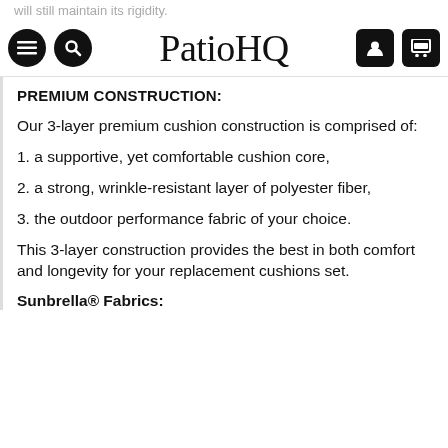will still maintain its rigidity.
PatioHQ
PREMIUM CONSTRUCTION:
Our 3-layer premium cushion construction is comprised of:
1. a supportive, yet comfortable cushion core,
2. a strong, wrinkle-resistant layer of polyester fiber,
3. the outdoor performance fabric of your choice.
This 3-layer construction provides the best in both comfort and longevity for your replacement cushions set.
Sunbrella® Fabrics: